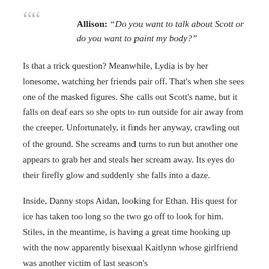Allison: “Do you want to talk about Scott or do you want to paint my body?”
Is that a trick question? Meanwhile, Lydia is by her lonesome, watching her friends pair off. That’s when she sees one of the masked figures. She calls out Scott’s name, but it falls on deaf ears so she opts to run outside for air away from the creeper. Unfortunately, it finds her anyway, crawling out of the ground. She screams and turns to run but another one appears to grab her and steals her scream away. Its eyes do their firefly glow and suddenly she falls into a daze.
Inside, Danny stops Aidan, looking for Ethan. His quest for ice has taken too long so the two go off to look for him. Stiles, in the meantime, is having a great time hooking up with the now apparently bisexual Kaitlynn whose girlfriend was another victim of last season’s